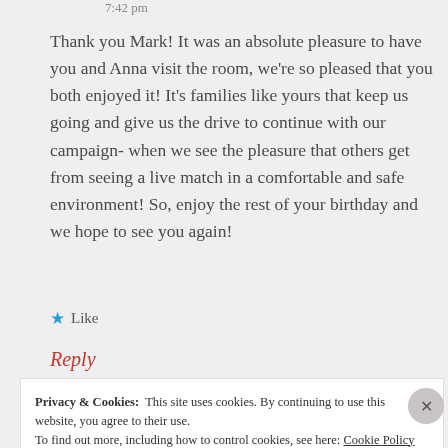7:42 pm
Thank you Mark! It was an absolute pleasure to have you and Anna visit the room, we're so pleased that you both enjoyed it! It's families like yours that keep us going and give us the drive to continue with our campaign- when we see the pleasure that others get from seeing a live match in a comfortable and safe environment! So, enjoy the rest of your birthday and we hope to see you again!
★ Like
Reply
Privacy & Cookies:  This site uses cookies. By continuing to use this site, you agree to their use.
To find out more, including how to control cookies, see here: Cookie Policy
Close and accept